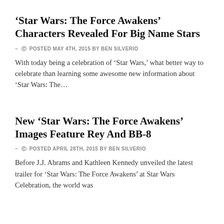'Star Wars: The Force Awakens' Characters Revealed For Big Name Stars
- © POSTED MAY 4TH, 2015 BY BEN SILVERIO
With today being a celebration of 'Star Wars,' what better way to celebrate than learning some awesome new information about 'Star Wars: The…
New 'Star Wars: The Force Awakens' Images Feature Rey And BB-8
- © POSTED APRIL 28TH, 2015 BY BEN SILVERIO
Before J.J. Abrams and Kathleen Kennedy unveiled the latest trailer for 'Star Wars: The Force Awakens' at Star Wars Celebration, the world was